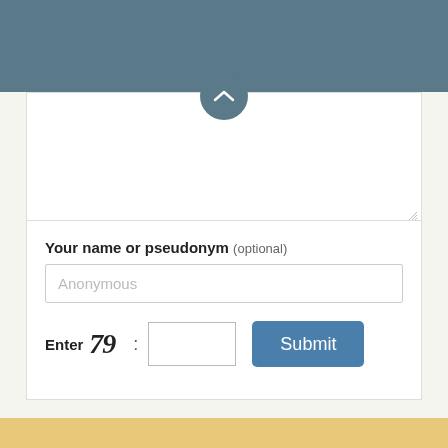[Figure (screenshot): Top navigation bar in slate/teal blue color with a circular collapse/chevron-up button centered at the bottom edge]
Your name or pseudonym (optional)
Anonymous
Enter 79 : [input field] [Submit button]